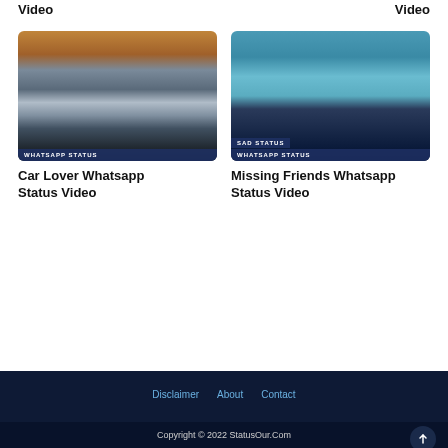Video   Video
[Figure (photo): A silver BMW sports car photographed at dusk with an orange/purple sky and dark landscape. Labels on image: 'WHATSAPP STATUS']
[Figure (photo): Three friends with arms raised in celebration, viewed from behind, against a bright teal sky/background. Labels on image: 'SAD STATUS' and 'WHATSAPP STATUS']
Car Lover Whatsapp Status Video
Missing Friends Whatsapp Status Video
Disclaimer  About  Contact
Copyright © 2022 StatusOur.Com